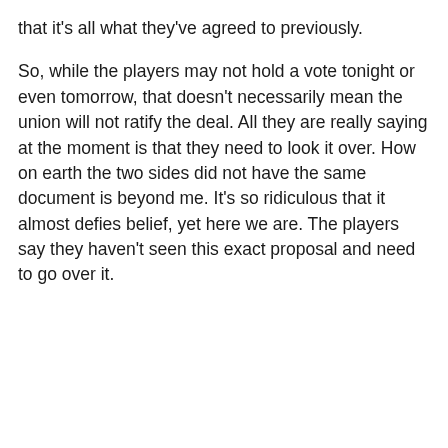that it's all what they've agreed to previously.
So, while the players may not hold a vote tonight or even tomorrow, that doesn't necessarily mean the union will not ratify the deal. All they are really saying at the moment is that they need to look it over. How on earth the two sides did not have the same document is beyond me. It's so ridiculous that it almost defies belief, yet here we are. The players say they haven't seen this exact proposal and need to go over it.